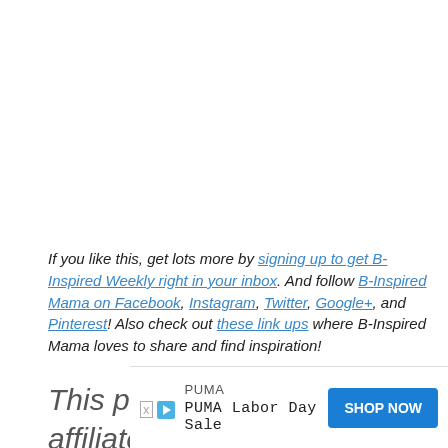If you like this, get lots more by signing up to get B-Inspired Weekly right in your inbox. And follow B-Inspired Mama on Facebook, Instagram, Twitter, Google+, and Pinterest!  Also check out these link ups where B-Inspired Mama loves to share and find inspiration!
This post may contain affiliate links.  Please see my di...
[Figure (other): PUMA advertisement banner: PUMA Labor Day Sale with SHOP NOW button]